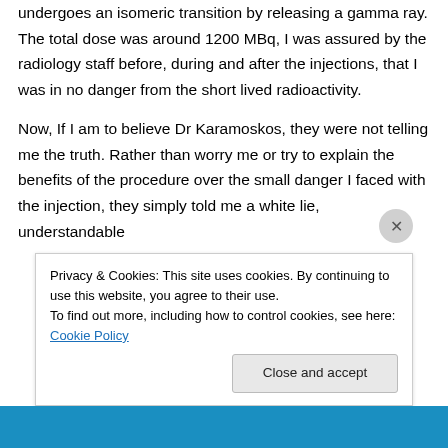undergoes an isomeric transition by releasing a gamma ray. The total dose was around 1200 MBq, I was assured by the radiology staff before, during and after the injections, that I was in no danger from the short lived radioactivity.
Now, If I am to believe Dr Karamoskos, they were not telling me the truth. Rather than worry me or try to explain the benefits of the procedure over the small danger I faced with the injection, they simply told me a white lie, understandable
Privacy & Cookies: This site uses cookies. By continuing to use this website, you agree to their use.
To find out more, including how to control cookies, see here: Cookie Policy